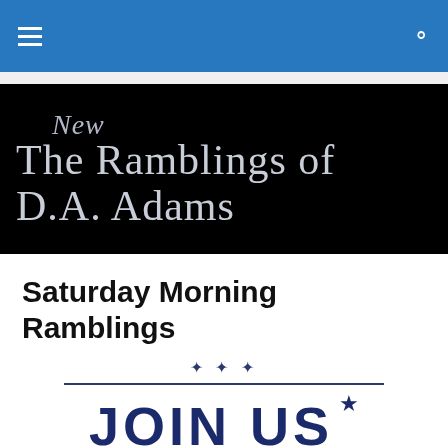Navigation bar with hamburger menu and search icon
[Figure (logo): Black banner logo reading 'New / The Ramblings of D.A. Adams' in silver serif font]
Saturday Morning Ramblings
[Figure (infographic): Decorative element with stars, horizontal divider line, and partial text 'JOIN US FOR' in dark navy bold font]